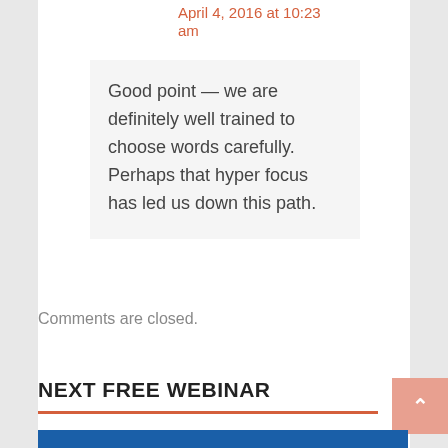April 4, 2016 at 10:23 am
Good point — we are definitely well trained to choose words carefully. Perhaps that hyper focus has led us down this path.
Comments are closed.
NEXT FREE WEBINAR
[Figure (other): Blue banner for a free webinar with 'FREE WEBINAR' text]